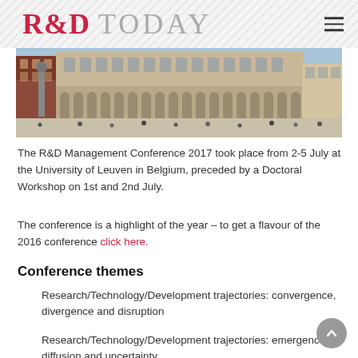R&D TODAY
[Figure (photo): Exterior photo of the University of Leuven building in Belgium, a large classical European building with arched colonnades and people sitting in front on a sunny day.]
The R&D Management Conference 2017 took place from 2-5 July at the University of Leuven in Belgium, preceded by a Doctoral Workshop on 1st and 2nd July.
The conference is a highlight of the year – to get a flavour of the 2016 conference click here.
Conference themes
Research/Technology/Development trajectories: convergence, divergence and disruption
Research/Technology/Development trajectories: emergence, diffusion and uncertainty